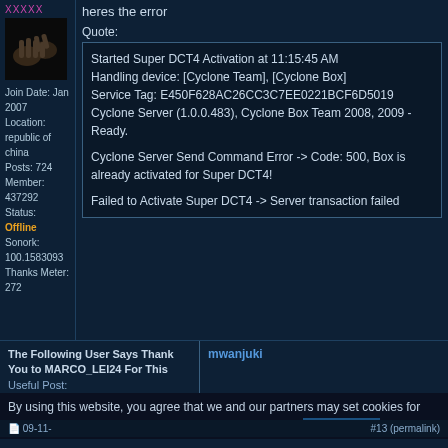XXXXX
[Figure (photo): User avatar showing hands against dark background]
Join Date: Jan 2007
Location: republic of china
Posts: 724
Member: 437292
Status: Offline
Sonork: 100.1583093
Thanks Meter: 272
heres the error
Quote:
Started Super DCT4 Activation at 11:15:45 AM
Handling device: [Cyclone Team], [Cyclone Box]
Service Tag: E450F628AC26CC3C7EE0221BCF6D5019
Cyclone Server (1.0.0.483), Cyclone Box Team 2008, 2009 - Ready.

Cyclone Server Send Command Error -> Code: 500, Box is already activated for Super DCT4!

Failed to Activate Super DCT4 -> Server transaction failed
The Following User Says Thank You to MARCO_LEI24 For This Useful Post:
mwanjuki
By using this website, you agree that we and our partners may set cookies for purposes such as customising content and advertising.
#13 (permalink)